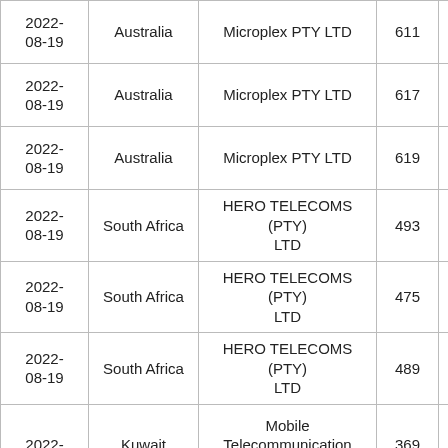| Date | Country | Organization | Number |  |
| --- | --- | --- | --- | --- |
| 2022-08-19 | Australia | Microplex PTY LTD | 611 |  |
| 2022-08-19 | Australia | Microplex PTY LTD | 617 |  |
| 2022-08-19 | Australia | Microplex PTY LTD | 619 |  |
| 2022-08-19 | South Africa | HERO TELECOMS (PTY) LTD | 493 |  |
| 2022-08-19 | South Africa | HERO TELECOMS (PTY) LTD | 475 |  |
| 2022-08-19 | South Africa | HERO TELECOMS (PTY) LTD | 489 |  |
| 2022- | Kuwait (partial) | Mobile Telecommunications (partial) | 369 (partial) |  |